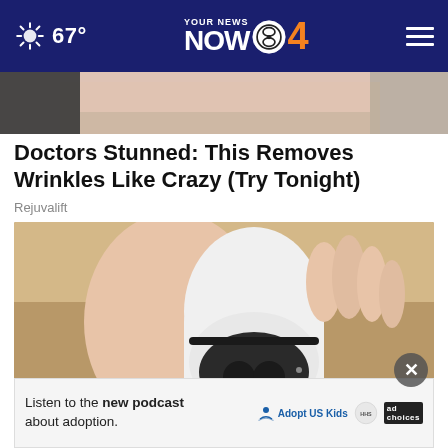67° YOUR NEWS NOW CBS 4
[Figure (photo): Partial photo showing hands, cropped at the top]
Doctors Stunned: This Removes Wrinkles Like Crazy (Try Tonight)
Rejuvalift
[Figure (photo): Hand holding a white smart security camera bulb device]
Listen to the new podcast about adoption.